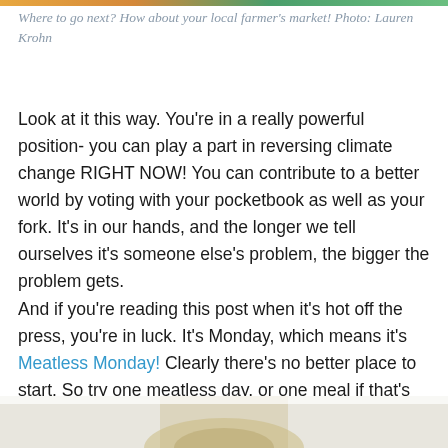Where to go next? How about your local farmer's market! Photo: Lauren Krohn
Look at it this way. You're in a really powerful position- you can play a part in reversing climate change RIGHT NOW! You can contribute to a better world by voting with your pocketbook as well as your fork. It's in our hands, and the longer we tell ourselves it's someone else's problem, the bigger the problem gets.
And if you're reading this post when it's hot off the press, you're in luck. It's Monday, which means it's Meatless Monday! Clearly there's no better place to start. So try one meatless day, or one meal if that's all you're ready for. (mind you, there's no sin in making it a Meatless Tuesday if that's the day you're reading. Or you know, in general.)
[Figure (photo): Bottom of page showing partial image of food/bowl, fading in from bottom]